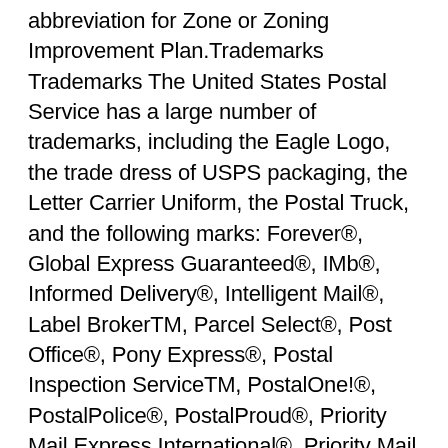abbreviation for Zone or Zoning Improvement Plan.Trademarks Trademarks The United States Postal Service has a large number of trademarks, including the Eagle Logo, the trade dress of USPS packaging, the Letter Carrier Uniform, the Postal Truck, and the following marks: Forever®, Global Express Guaranteed®, IMb®, Informed Delivery®, Intelligent Mail®, Label BrokerTM, Parcel Select®, Post Office®, Pony Express®, Postal Inspection ServiceTM, PostalOne!®, PostalPolice®, PostalProud®, Priority Mail Express International®, Priority Mail Flat Rate®, Priority Mail International Service®, Priority Mail Intenational Service®, Priority Mail International Service®, Priority Mail International Service, Priority This is not an exhaustive list of all trademarks owned by the United States Postal